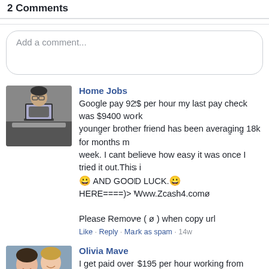2 Comments
Add a comment...
Home Jobs
Google pay 92$ per hour my last pay check was $9400 work younger brother friend has been averaging 18k for months more week. I cant believe how easy it was once I tried it out.This is 😀 AND GOOD LUCK.😀
HERE====)> Www.Zcash4.comø

Please Remove ( ø ) when copy url
Like · Reply · Mark as spam · 14w
Olivia Mave
I get paid over $195 per hour working from home with 2 kids able to do it but my best friend earns over 19k a month doing was all true and has totally changed my life. This is what I do Website